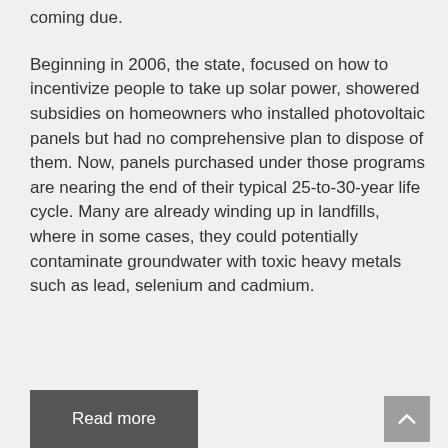coming due.
Beginning in 2006, the state, focused on how to incentivize people to take up solar power, showered subsidies on homeowners who installed photovoltaic panels but had no comprehensive plan to dispose of them. Now, panels purchased under those programs are nearing the end of their typical 25-to-30-year life cycle. Many are already winding up in landfills, where in some cases, they could potentially contaminate groundwater with toxic heavy metals such as lead, selenium and cadmium.
Read more